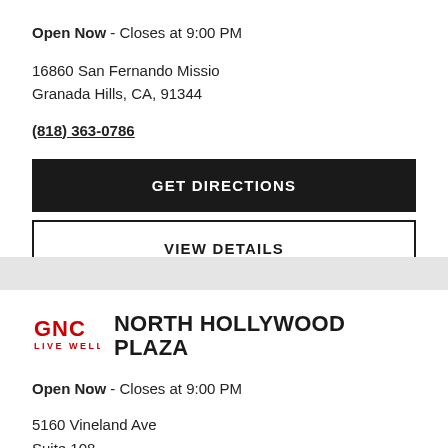Open Now - Closes at 9:00 PM
16860 San Fernando Missio
Granada Hills, CA, 91344
(818) 363-0786
GET DIRECTIONS
VIEW DETAILS
NORTH HOLLYWOOD PLAZA
[Figure (logo): GNC Live Well logo in red]
Open Now - Closes at 9:00 PM
5160 Vineland Ave
Suite 108